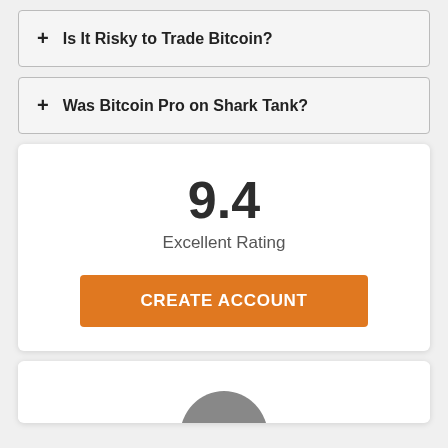+ Is It Risky to Trade Bitcoin?
+ Was Bitcoin Pro on Shark Tank?
9.4
Excellent Rating
CREATE ACCOUNT
[Figure (photo): Partial view of a person's head/shoulders at bottom of page]